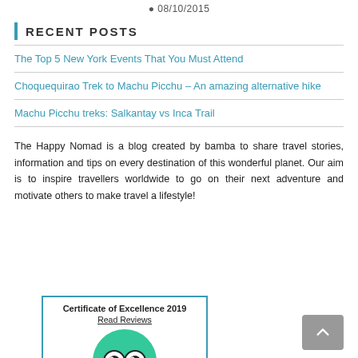08/10/2015
Recent Posts
The Top 5 New York Events That You Must Attend
Choquequirao Trek to Machu Picchu – An amazing alternative hike
Machu Picchu treks: Salkantay vs Inca Trail
The Happy Nomad is a blog created by bamba to share travel stories, information and tips on every destination of this wonderful planet. Our aim is to inspire travellers worldwide to go on their next adventure and motivate others to make travel a lifestyle!
[Figure (other): TripAdvisor Certificate of Excellence 2019 badge with green circle and owl eyes logo, with 'Read Reviews' link below the title]